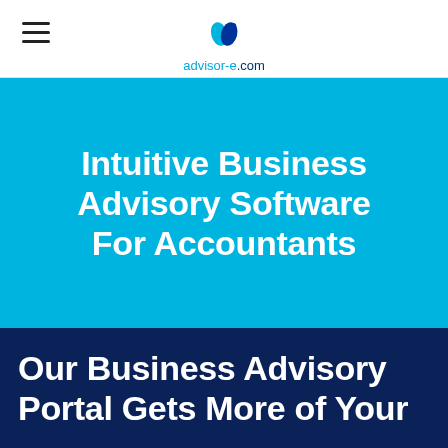advisor-e.com
Intuitive Business Advisory Software For Accountants
Our Business Advisory Portal Gets More of Your